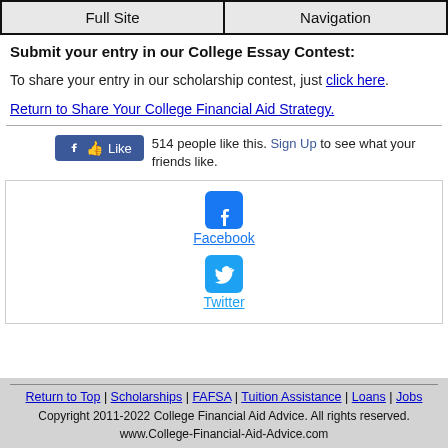Full Site | Navigation
Submit your entry in our College Essay Contest:
To share your entry in our scholarship contest, just click here.
Return to Share Your College Financial Aid Strategy.
[Figure (screenshot): Facebook Like button widget showing 514 people like this with Sign Up link]
[Figure (infographic): Social media sharing box with Facebook icon and link, and Twitter icon and link]
Return to Top | Scholarships | FAFSA | Tuition Assistance | Loans | Jobs
Copyright 2011-2022 College Financial Aid Advice. All rights reserved.
www.College-Financial-Aid-Advice.com